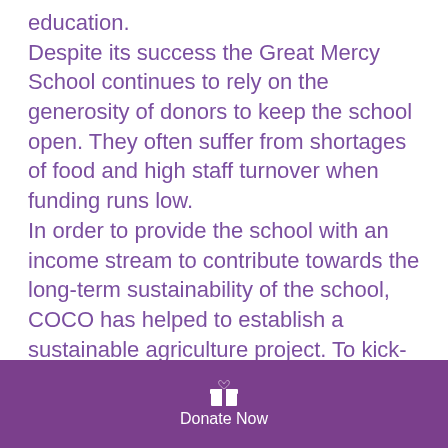education. Despite its success the Great Mercy School continues to rely on the generosity of donors to keep the school open. They often suffer from shortages of food and high staff turnover when funding runs low. In order to provide the school with an income stream to contribute towards the long-term sustainability of the school, COCO has helped to establish a sustainable agriculture project. To kick-start this ambitious project, COCO has worked hard to build a reinforced fence surrounding the project site, and to purchase
Donate Now